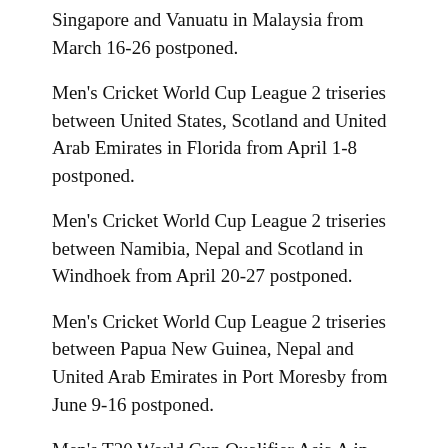Singapore and Vanuatu in Malaysia from March 16-26 postponed.
Men's Cricket World Cup League 2 triseries between United States, Scotland and United Arab Emirates in Florida from April 1-8 postponed.
Men's Cricket World Cup League 2 triseries between Namibia, Nepal and Scotland in Windhoek from April 20-27 postponed.
Men's Cricket World Cup League 2 triseries between Papua New Guinea, Nepal and United Arab Emirates in Port Moresby from June 9-16 postponed.
Men's T20 World Cup Qualifier Asia A in Kuwait from April 15-21 postponed.
Men's T20 World Cup sub-regional qualifier in South Africa from April 27-May 3 postponed.
Men's T20 World Cup Qualifier Europe A in Spain